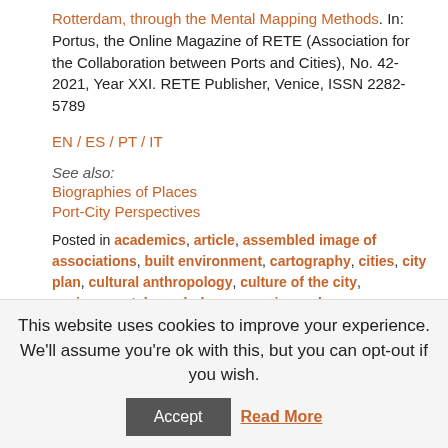Rotterdam, through the Mental Mapping Methods. In: Portus, the Online Magazine of RETE (Association for the Collaboration between Ports and Cities), No. 42-2021, Year XXI. RETE Publisher, Venice, ISSN 2282-5789
EN / ES / PT / IT
See also:
Biographies of Places
Port-City Perspectives
Posted in academics, article, assembled image of associations, built environment, cartography, cities, city plan, cultural anthropology, culture of the city, environmental psychology, experience, human geography, image, imagination, living environment, meaning, mental image, mental mapping, mind map, perception, place, port
This website uses cookies to improve your experience. We'll assume you're ok with this, but you can opt-out if you wish.
Accept
Read More